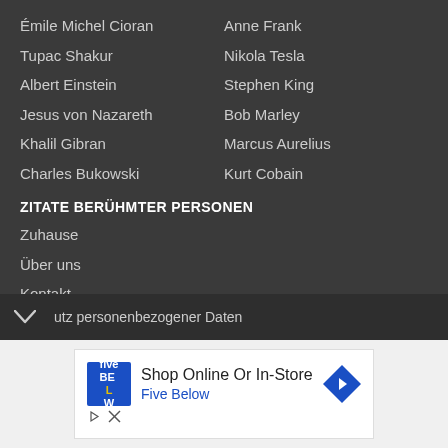Émile Michel Cioran
Anne Frank
Tupac Shakur
Nikola Tesla
Albert Einstein
Stephen King
Jesus von Nazareth
Bob Marley
Khalil Gibran
Marcus Aurelius
Charles Bukowski
Kurt Cobain
ZITATE BERÜHMTER PERSONEN
Zuhause
Über uns
Kontakt
Privacy settings
utz personenbezogener Daten
[Figure (screenshot): Advertisement for Five Below: 'Shop Online Or In-Store / Five Below' with logo and navigation arrow icon]